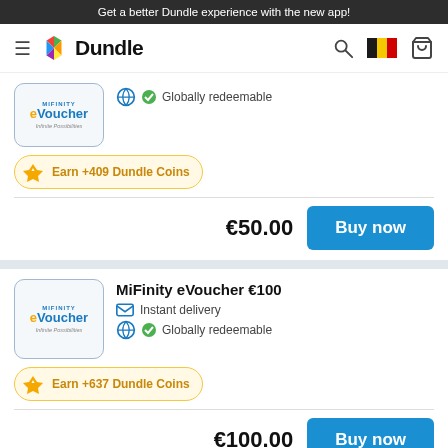Get a better Dundle experience with the new app!
[Figure (logo): Dundle logo with colorful geometric icon and bold text]
[Figure (illustration): MiFinity eVoucher card - Infinite Possibilities]
Globally redeemable
Earn +409 Dundle Coins
€50.00
Buy now
[Figure (illustration): MiFinity eVoucher card - Infinite Possibilities]
MiFinity eVoucher €100
Instant delivery
Globally redeemable
Earn +637 Dundle Coins
€100.00
Buy now